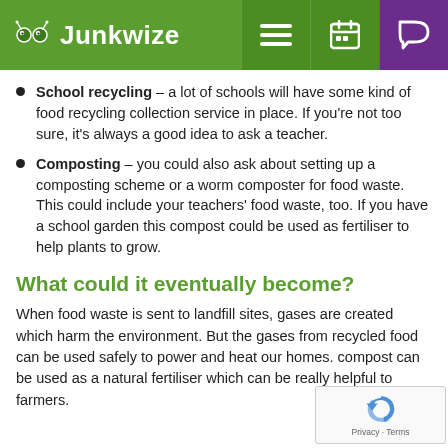Junkwize
School recycling – a lot of schools will have some kind of food recycling collection service in place. If you're not too sure, it's always a good idea to ask a teacher.
Composting – you could also ask about setting up a composting scheme or a worm composter for food waste. This could include your teachers' food waste, too. If you have a school garden this compost could be used as fertiliser to help plants to grow.
What could it eventually become?
When food waste is sent to landfill sites, gases are created which harm the environment. But the gases from recycled food can be used safely to power and heat our homes. compost can be used as a natural fertiliser which can be really helpful to farmers.